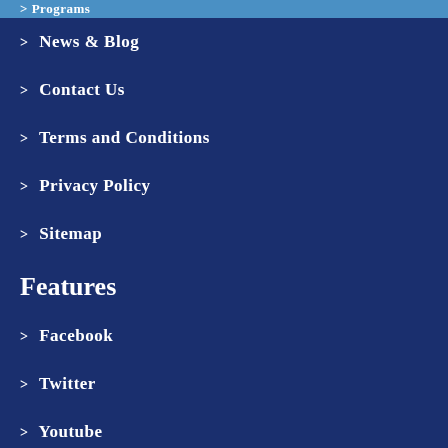> Programs
> News & Blog
> Contact Us
> Terms and Conditions
> Privacy Policy
> Sitemap
Features
> Facebook
> Twitter
> Youtube